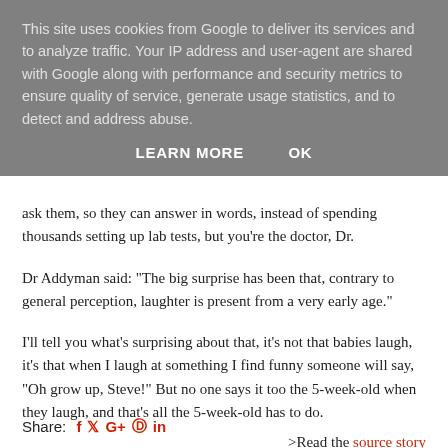This site uses cookies from Google to deliver its services and to analyze traffic. Your IP address and user-agent are shared with Google along with performance and security metrics to ensure quality of service, generate usage statistics, and to detect and address abuse.
LEARN MORE   OK
ask them, so they can answer in words, instead of spending thousands setting up lab tests, but you're the doctor, Dr.
Dr Addyman said: "The big surprise has been that, contrary to general perception, laughter is present from a very early age."
I'll tell you what's surprising about that, it's not that babies laugh, it's that when I laugh at something I find funny someone will say, "Oh grow up, Steve!" But no one says it too the 5-week-old when they laugh, and that's all the 5-week-old has to do.
>Read the source story
Share: f  t  G+  p  in